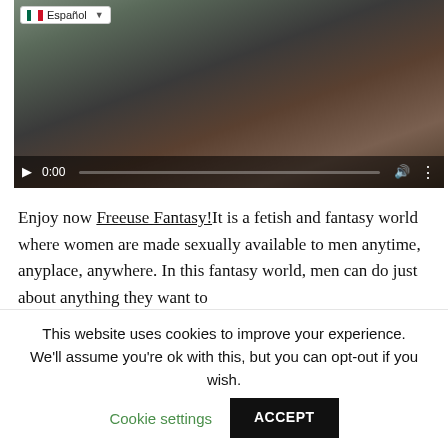[Figure (screenshot): Video player showing a scene with people around a table. A language selector showing 'Español' with a Mexican flag is visible in the top-left. Video controls at the bottom show '0:00' timestamp and volume icon.]
Enjoy now Freeuse Fantasy!It is a fetish and fantasy world where women are made sexually available to men anytime, anyplace, anywhere. In this fantasy world, men can do just about anything they want to
This website uses cookies to improve your experience. We'll assume you're ok with this, but you can opt-out if you wish.  Cookie settings  ACCEPT